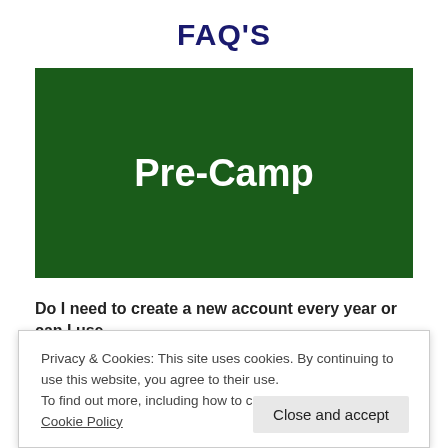FAQ'S
[Figure (other): Dark green banner with white bold text reading 'Pre-Camp']
Do I need to create a new account every year or can I use
Privacy & Cookies: This site uses cookies. By continuing to use this website, you agree to their use.
To find out more, including how to control cookies, see here: Cookie Policy
Close and accept